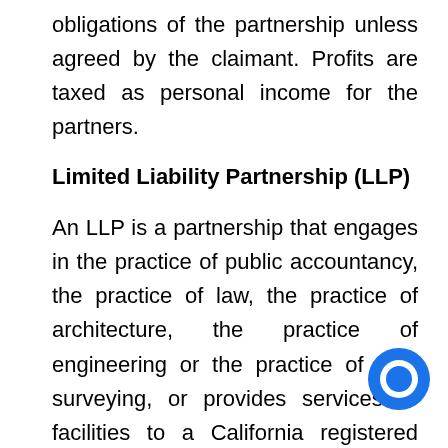obligations of the partnership unless agreed by the claimant. Profits are taxed as personal income for the partners.
Limited Liability Partnership (LLP)
An LLP is a partnership that engages in the practice of public accountancy, the practice of law, the practice of architecture, the practice of engineering or the practice of land surveying, or provides services or facilities to a California registered LLP that practices public accountancy or law, or to a foreign LLP. An LLP is required to maintain certain levels of insurance as required by law.